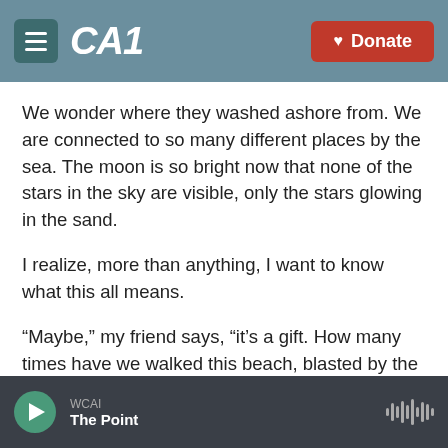CAI | Donate
We wonder where they washed ashore from. We are connected to so many different places by the sea. The moon is so bright now that none of the stars in the sky are visible, only the stars glowing in the sand.
I realize, more than anything, I want to know what this all means.
“Maybe,” my friend says, “it’s a gift. How many times have we walked this beach, blasted by the sand, freezing our faces off? Maybe this is a
WCAI | The Point